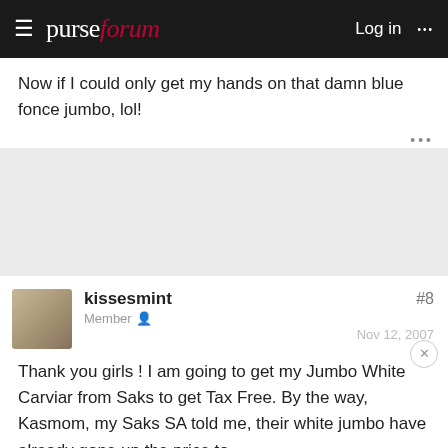purseforum  Log in
Now if I could only get my hands on that damn blue fonce jumbo, lol!
[Figure (other): Advertisement block (gray placeholder)]
kissesmint  Member  #8  Nov 12, 2007
Thank you girls ! I am going to get my Jumbo White Carviar from Saks to get Tax Free. By the way, Kasmom, my Saks SA told me, their white jumbo have already gone up the price to